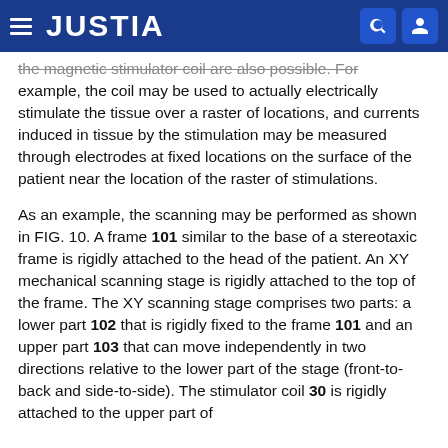JUSTIA
the magnetic stimulator coil are also possible. For example, the coil may be used to actually electrically stimulate the tissue over a raster of locations, and currents induced in tissue by the stimulation may be measured through electrodes at fixed locations on the surface of the patient near the location of the raster of stimulations.
As an example, the scanning may be performed as shown in FIG. 10. A frame 101 similar to the base of a stereotaxic frame is rigidly attached to the head of the patient. An XY mechanical scanning stage is rigidly attached to the top of the frame. The XY scanning stage comprises two parts: a lower part 102 that is rigidly fixed to the frame 101 and an upper part 103 that can move independently in two directions relative to the lower part of the stage (front-to-back and side-to-side). The stimulator coil 30 is rigidly attached to the upper part of